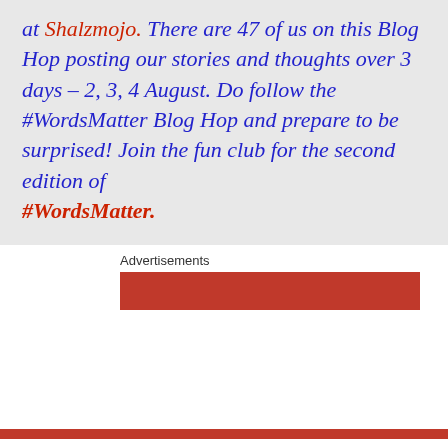at Shalzmojo. There are 47 of us on this Blog Hop posting our stories and thoughts over 3 days – 2, 3, 4 August. Do follow the #WordsMatter Blog Hop and prepare to be surprised! Join the fun club for the second edition of #WordsMatter.
Advertisements
Privacy & Cookies: This site uses cookies. By continuing to use this website, you agree to their use.
To find out more, including how to control cookies, see here: Cookie Policy
Close and accept